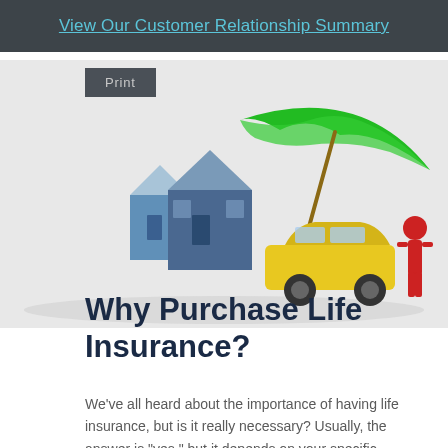View Our Customer Relationship Summary
Print
[Figure (illustration): 3D illustration showing insurance concept: two blue house models of different sizes, a yellow toy car, a red human figure standing beside the car, and a large open green umbrella covering the scene, all on a white background.]
Why Purchase Life Insurance?
We’ve all heard about the importance of having life insurance, but is it really necessary? Usually, the answer is “yes,” but it depends on your specific